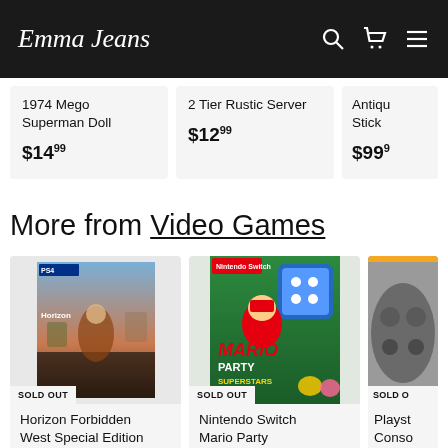Emma Jeans
1974 Mego Superman Doll $14.99
2 Tier Rustic Server $12.99
Antique Stick $99.99
More from Video Games
[Figure (photo): Horizon Forbidden West Special Edition PS4 game cover]
SOLD OUT
Horizon Forbidden West Special Edition
[Figure (photo): Nintendo Switch Mario Party Superstars game cover]
SOLD OUT
Nintendo Switch Mario Party
[Figure (photo): Partial view of a Playstation Console product]
SOLD OUT
Playst Console